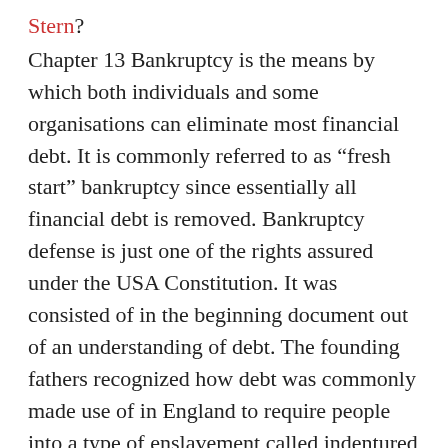Stern?
Chapter 13 Bankruptcy is the means by which both individuals and some organisations can eliminate most financial debt. It is commonly referred to as “fresh start” bankruptcy since essentially all financial debt is removed. Bankruptcy defense is just one of the rights assured under the USA Constitution. It was consisted of in the beginning document out of an understanding of debt. The founding fathers recognized how debt was commonly made use of in England to require people into a type of enslavement called indentured servitude. By including the right to proclaim insolvency, all citizens are offered defense versus such. To learn more about Chicago bankruptcy lawyers please click the link.
Can a Business Declare Chapter 13 Bankruptcy Security?
Both organisations and also individuals can declare